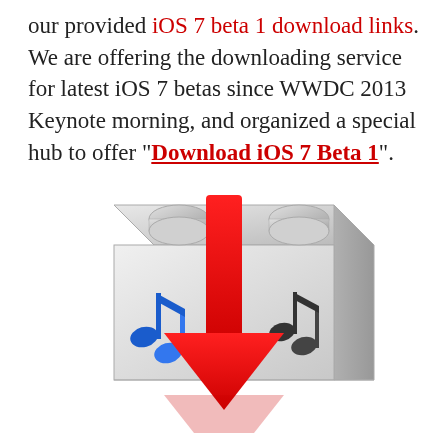our provided iOS 7 beta 1 download links. We are offering the downloading service for latest iOS 7 betas since WWDC 2013 Keynote morning, and organized a special hub to offer "Download iOS 7 Beta 1".
[Figure (illustration): iTunes-style download icon: a white Lego-like brick with blue and dark music notes on the sides, and a large red downward arrow overlaid on top, suggesting a download action.]